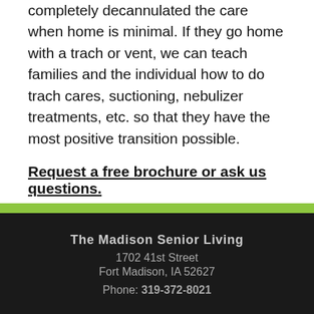completely decannulated the care when home is minimal. If they go home with a trach or vent, we can teach families and the individual how to do trach cares, suctioning, nebulizer treatments, etc. so that they have the most positive transition possible.
Request a free brochure or ask us questions.
The Madison Senior Living
1702 41st Street
Fort Madison, IA 52627
Phone: 319-372-8021